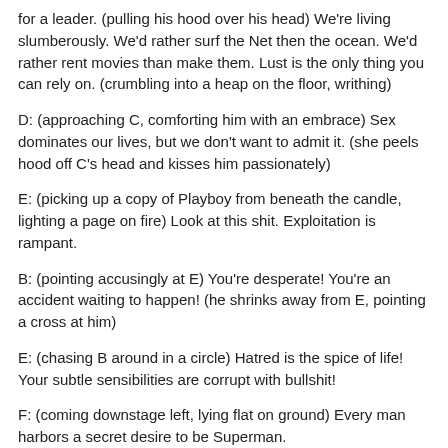for a leader. (pulling his hood over his head) We're living slumberously. We'd rather surf the Net then the ocean. We'd rather rent movies than make them. Lust is the only thing you can rely on. (crumbling into a heap on the floor, writhing)
D: (approaching C, comforting him with an embrace) Sex dominates our lives, but we don't want to admit it. (she peels hood off C's head and kisses him passionately)
E: (picking up a copy of Playboy from beneath the candle, lighting a page on fire) Look at this shit. Exploitation is rampant.
B: (pointing accusingly at E) You're desperate! You're an accident waiting to happen! (he shrinks away from E, pointing a cross at him)
E: (chasing B around in a circle) Hatred is the spice of life! Your subtle sensibilities are corrupt with bullshit!
F: (coming downstage left, lying flat on ground) Every man harbors a secret desire to be Superman.